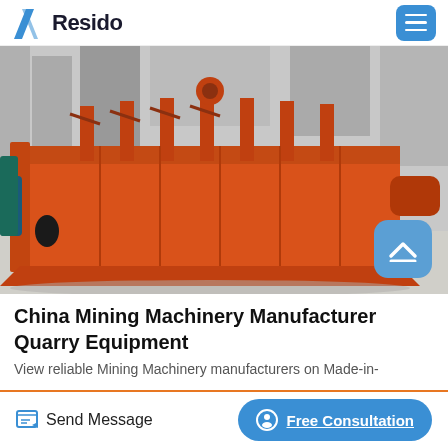Resido
[Figure (photo): Large orange industrial flotation machine / mining equipment photographed outdoors at a manufacturing facility. The machine is a long rectangular orange metal tank with mechanical components on top.]
China Mining Machinery Manufacturer Quarry Equipment
View reliable Mining Machinery manufacturers on Made-in-
Send Message | Free Consultation